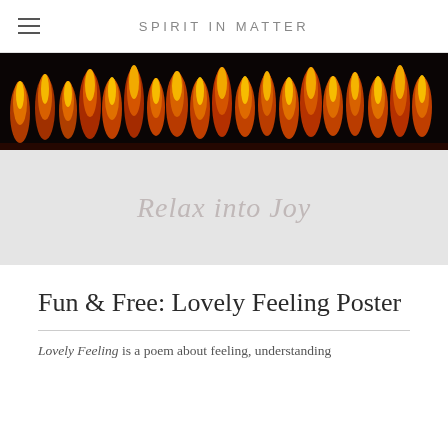SPIRIT IN MATTER
[Figure (photo): Dark background with many lit candle flames arranged in a row, warm orange and yellow fire against black background]
Relax into Joy
Fun & Free: Lovely Feeling Poster
Lovely Feeling is a poem about feeling, understanding